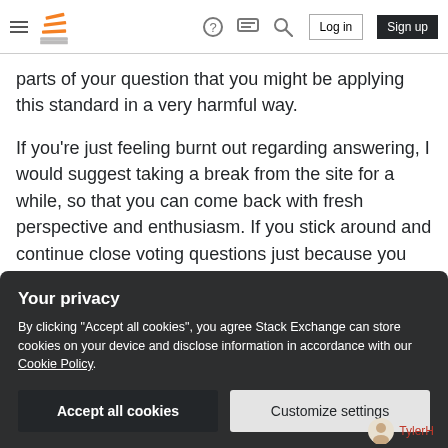Stack Exchange navigation bar with hamburger menu, logo, help icon, chat icon, search icon, Log in button, Sign up button
parts of your question that you might be applying this standard in a very harmful way.
If you're just feeling burnt out regarding answering, I would suggest taking a break from the site for a while, so that you can come back with fresh perspective and enthusiasm. If you stick around and continue close voting questions just because you don't want to answer them, you may end up getting suspended, or worse, wrongfully preventing someone from receiving an answer to their own
Your privacy
By clicking "Accept all cookies", you agree Stack Exchange can store cookies on your device and disclose information in accordance with our Cookie Policy.
Accept all cookies
Customize settings